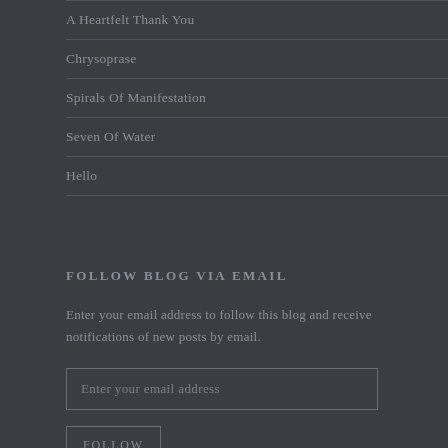A Heartfelt Thank You
Chrysoprase
Spirals Of Manifestation
Seven Of Water
Hello
FOLLOW BLOG VIA EMAIL
Enter your email address to follow this blog and receive notifications of new posts by email.
Enter your email address
FOLLOW